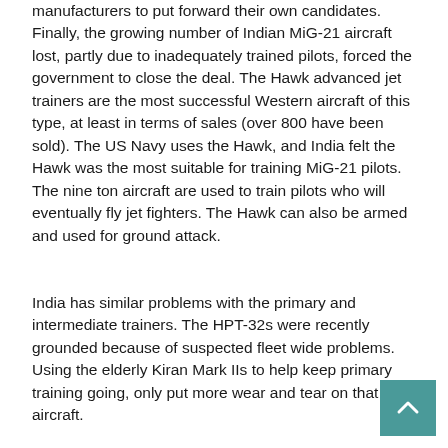manufacturers to put forward their own candidates. Finally, the growing number of Indian MiG-21 aircraft lost, partly due to inadequately trained pilots, forced the government to close the deal. The Hawk advanced jet trainers are the most successful Western aircraft of this type, at least in terms of sales (over 800 have been sold). The US Navy uses the Hawk, and India felt the Hawk was the most suitable for training MiG-21 pilots. The nine ton aircraft are used to train pilots who will eventually fly jet fighters. The Hawk can also be armed and used for ground attack.
India has similar problems with the primary and intermediate trainers. The HPT-32s were recently grounded because of suspected fleet wide problems. Using the elderly Kiran Mark IIs to help keep primary training going, only put more wear and tear on that aircraft.